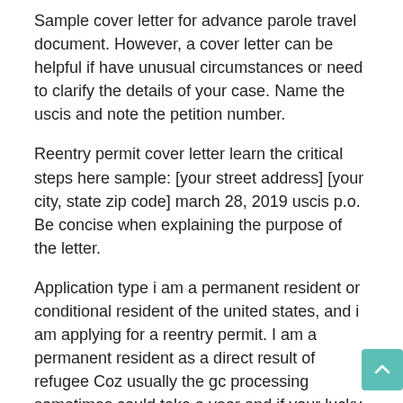Sample cover letter for advance parole travel document. However, a cover letter can be helpful if have unusual circumstances or need to clarify the details of your case. Name the uscis and note the petition number.
Reentry permit cover letter learn the critical steps here sample: [your street address] [your city, state zip code] march 28, 2019 uscis p.o. Be concise when explaining the purpose of the letter.
Application type i am a permanent resident or conditional resident of the united states, and i am applying for a reentry permit. I am a permanent resident as a direct result of refugee Coz usually the gc processing sometimes could take a year and if your lucky it.
Citizenpath offers two different sample i. A cover letter has two (2) benefits. This is why we are going to give you some tips on how to write this cover letter.